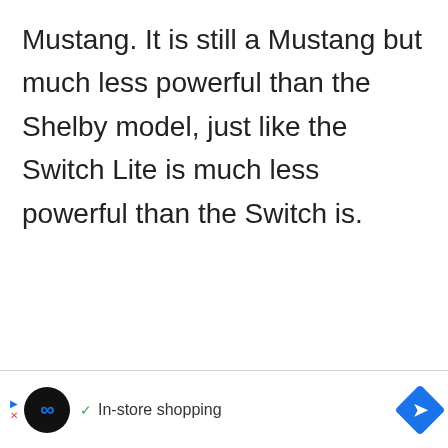Mustang. It is still a Mustang but much less powerful than the Shelby model, just like the Switch Lite is much less powerful than the Switch is.
[Figure (other): Advertisement banner at the bottom of the page showing a black circle logo with infinity symbol, a checkmark with 'In-store shopping' text, and a blue diamond-shaped arrow button on the right. Left side has small play and close icons.]